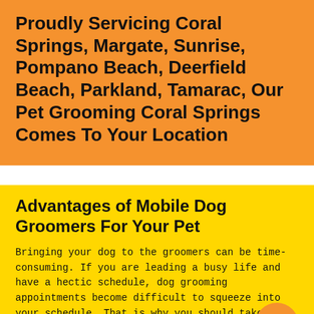Proudly Servicing Coral Springs, Margate, Sunrise, Pompano Beach, Deerfield Beach, Parkland, Tamarac, Our Pet Grooming Coral Springs Comes To Your Location
Advantages of Mobile Dog Groomers For Your Pet
Bringing your dog to the groomers can be time-consuming. If you are leading a busy life and have a hectic schedule, dog grooming appointments become difficult to squeeze into your schedule. That is why you should take advantage of mobile Dog grooming Tamarac.
Every dog needs regular grooming, especially if